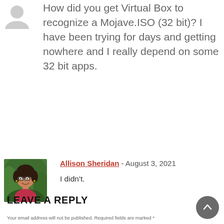[Figure (illustration): Gray avatar placeholder silhouette icon for anonymous user]
How did you get Virtual Box to recognize a Mojave.ISO (32 bit)? I have been trying for days and getting nowhere and I really depend on some 32 bit apps.
[Figure (photo): Photo of Allison Sheridan, a woman with glasses and dark hair wearing a pink top, smiling outdoors with green background]
Allison Sheridan - August 3, 2021
I didn't.
LEAVE A REPLY
Your email address will not be published. Required fields are marked *